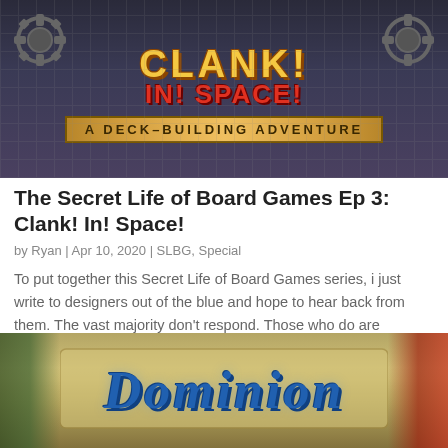[Figure (photo): Clank! In! Space! board game box art showing the title 'CLANK! IN! SPACE!' with subtitle 'A DECK-BUILDING ADVENTURE' on a metallic sci-fi background]
The Secret Life of Board Games Ep 3: Clank! In! Space!
by Ryan | Apr 10, 2020 | SLBG, Special
To put together this Secret Life of Board Games series, i just write to designers out of the blue and hope to hear back from them. The vast majority don't respond. Those who do are sometimes terse. But every so often, i'll strike paydirt, like i did with...
[Figure (photo): Dominion board game box art showing the word 'Dominion' in large blue stylized gothic text on a parchment/shield background with green and red decorative elements on the sides]